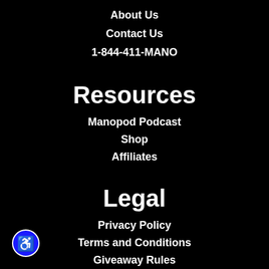About Us
Contact Us
1-844-411-MANO
Resources
Manopod Podcast
Shop
Affiliates
Legal
Privacy Policy
Terms and Conditions
Giveaway Rules